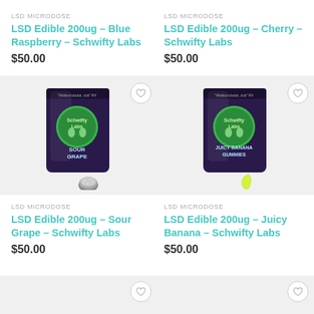LSD MICRODOSE
LSD Edible 200ug – Blue Raspberry – Schwifty Labs
$50.00
LSD MICRODOSE
LSD Edible 200ug – Cherry – Schwifty Labs
$50.00
[Figure (photo): Product photo of Schwifty Labs LSD Edible 200ug Sour Grape gummy bag with sour grape gummy candy in front]
[Figure (photo): Product photo of Schwifty Labs LSD Edible 200ug Juicy Banana gummy bag with banana gummy candy in front]
LSD MICRODOSE
LSD Edible 200ug – Sour Grape – Schwifty Labs
$50.00
LSD MICRODOSE
LSD Edible 200ug – Juicy Banana – Schwifty Labs
$50.00